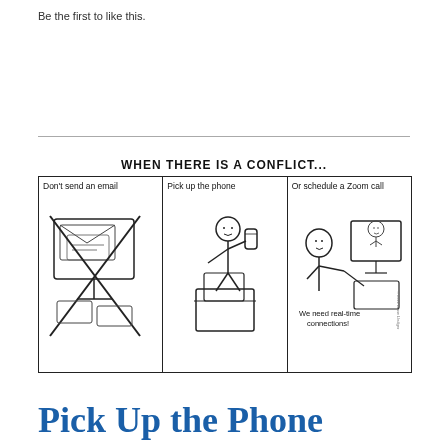Be the first to like this.
[Figure (illustration): Three-panel cartoon titled 'WHEN THERE IS A CONFLICT...' Panel 1: Don't send an email (crossed-out email/computer). Panel 2: Pick up the phone (stick figure on phone). Panel 3: Or schedule a Zoom call (stick figure at monitor with another person on screen). Caption: We need real-time connections!]
Pick Up the Phone